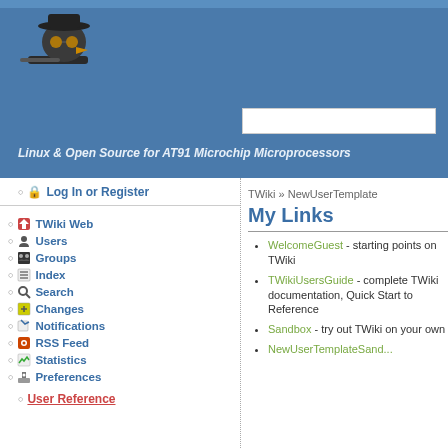[Figure (logo): TWiki mascot logo - duck/penguin character with hat]
[Figure (screenshot): Search input box]
Linux & Open Source for AT91 Microchip Microprocessors
Log In or Register
TWiki Web
Users
Groups
Index
Search
Changes
Notifications
RSS Feed
Statistics
Preferences
User Reference
TWiki » NewUserTemplate
My Links
WelcomeGuest - starting points on TWiki
TWikiUsersGuide - complete TWiki documentation, Quick Start to Reference
Sandbox - try out TWiki on your own
NewUserTemplateSand...